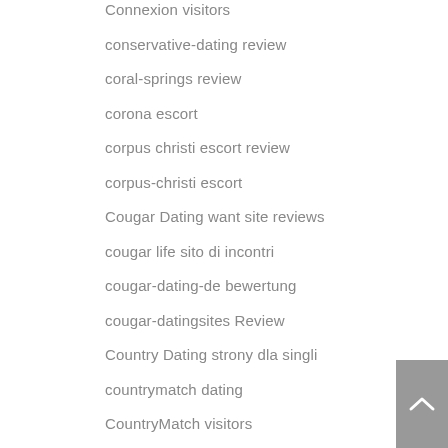Connexion visitors
conservative-dating review
coral-springs review
corona escort
corpus christi escort review
corpus-christi escort
Cougar Dating want site reviews
cougar life sito di incontri
cougar-dating-de bewertung
cougar-datingsites Review
Country Dating strony dla singli
countrymatch dating
CountryMatch visitors
countrymatch-overzicht Review
Couples Hookup Apps reviews